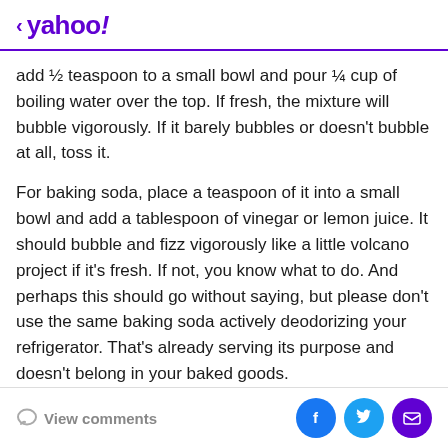< yahoo!
add ½ teaspoon to a small bowl and pour ¼ cup of boiling water over the top. If fresh, the mixture will bubble vigorously. If it barely bubbles or doesn't bubble at all, toss it.
For baking soda, place a teaspoon of it into a small bowl and add a tablespoon of vinegar or lemon juice. It should bubble and fizz vigorously like a little volcano project if it's fresh. If not, you know what to do. And perhaps this should go without saying, but please don't use the same baking soda actively deodorizing your refrigerator. That's already serving its purpose and doesn't belong in your baked goods.
View comments